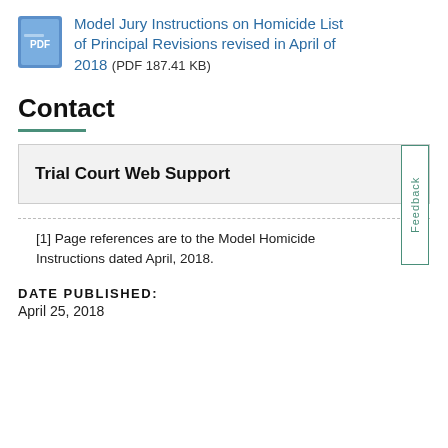Model Jury Instructions on Homicide List of Principal Revisions revised in April of 2018 (PDF 187.41 KB)
Contact
Trial Court Web Support +
[1] Page references are to the Model Homicide Instructions dated April, 2018.
DATE PUBLISHED: April 25, 2018